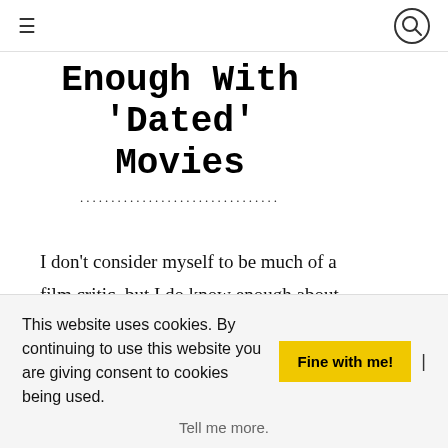≡  [search icon]
Enough With 'Dated' Movies
I don't consider myself to be much of a film critic, but I do know enough about filmmaking to have an axe to grind with one extremely irritating, yet pervasive,
This website uses cookies. By continuing to use this website you are giving consent to cookies being used. Fine with me! | Tell me more.